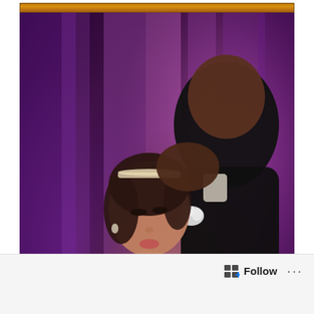[Figure (photo): Wedding photo of a bride and groom dancing. The bride wears a strapless beaded gown and a jeweled headband, her eyes closed. The groom in a dark suit with a white boutonniere kisses her on the head while holding her hands. The background has purple/magenta draped fabric with warm lighting. The photo is framed with a golden/orange textured border strip at top and bottom. Watermark text '© Craig David Butler' is overlaid at the bottom of the photo.]
© Craig David Butler
[Figure (other): Partial orange/golden textured decorative bar visible at the bottom of the page content area.]
Follow